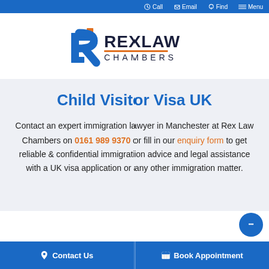Call  Email  Find  Menu
[Figure (logo): Rex Law Chambers logo with stylized R icon in blue and orange, and text REXLAW CHAMBERS]
Child Visitor Visa UK
Contact an expert immigration lawyer in Manchester at Rex Law Chambers on 0161 989 9370 or fill in our enquiry form to get reliable & confidential immigration advice and legal assistance with a UK visa application or any other immigration matter.
Contact Us  Book Appointment